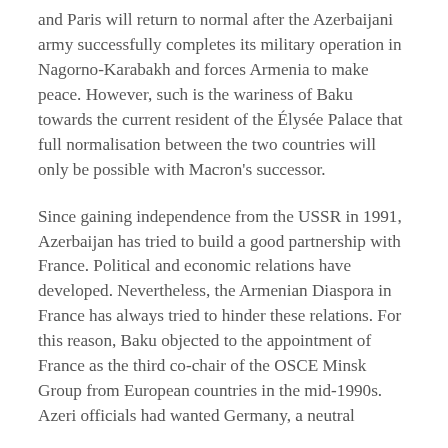and Paris will return to normal after the Azerbaijani army successfully completes its military operation in Nagorno-Karabakh and forces Armenia to make peace. However, such is the wariness of Baku towards the current resident of the Élysée Palace that full normalisation between the two countries will only be possible with Macron's successor.
Since gaining independence from the USSR in 1991, Azerbaijan has tried to build a good partnership with France. Political and economic relations have developed. Nevertheless, the Armenian Diaspora in France has always tried to hinder these relations. For this reason, Baku objected to the appointment of France as the third co-chair of the OSCE Minsk Group from European countries in the mid-1990s. Azeri officials had wanted Germany, a neutral